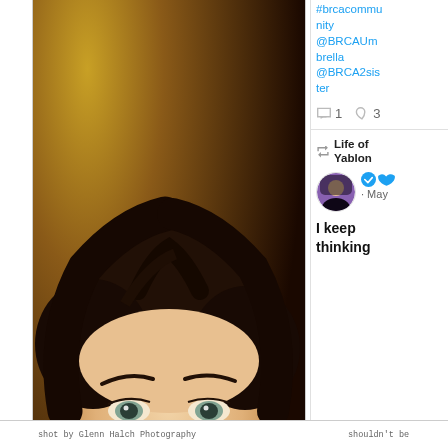[Figure (photo): Portrait headshot of a young man with brown hair and blue-green eyes, wearing a light grey shirt, photographed against a warm brown/golden background. Professional acting headshot style.]
#brcacommunity @BRCAUmbrella @BRCA2sister
comment 1  heart 3
Life of Yablon · May
I keep thinking
Privacy & Cookies: This site uses cookies. By continuing to use this website, you agree to their use. To find out more, including how to control cookies, see here: Cookie Policy
Close and accept
shot by Glenn Halch Photography
shouldn't be